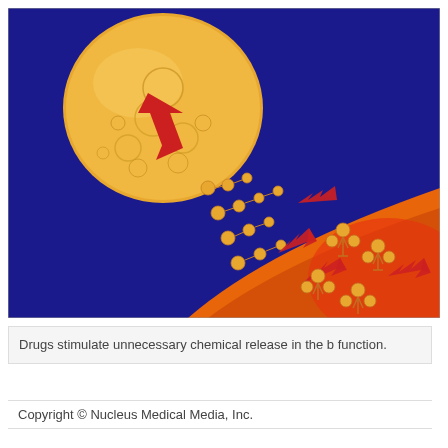[Figure (illustration): Medical illustration showing neurotransmitter release at a synapse. A golden/orange neuron terminal (presynaptic bulb) is shown at the top left against a dark blue background, with vesicles (small bubbles) inside it and a red arrow pointing toward the membrane. Neurotransmitter molecules (small golden spheres connected in chains) are shown being released into the synaptic cleft and binding to receptors (tree-like structures) on the postsynaptic membrane (orange/red surface at bottom right). Multiple red arrows indicate the direction of chemical movement and binding.]
Drugs stimulate unnecessary chemical release in the b function.
Copyright © Nucleus Medical Media, Inc.